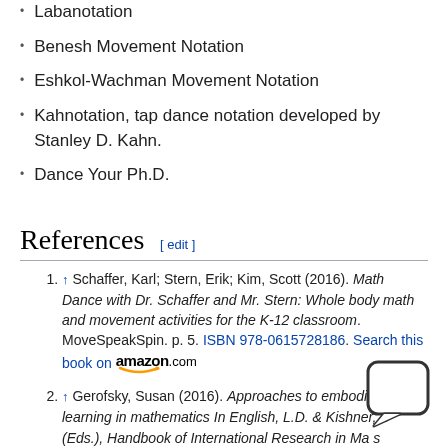Labanotation
Benesh Movement Notation
Eshkol-Wachman Movement Notation
Kahnotation, tap dance notation developed by Stanley D. Kahn.
Dance Your Ph.D.
References
↑ Schaffer, Karl; Stern, Erik; Kim, Scott (2016). Math Dance with Dr. Schaffer and Mr. Stern: Whole body math and movement activities for the K-12 classroom. MoveSpeakSpin. p. 5. ISBN 978-0615728186. Search this book on amazon.com
↑ Gerofsky, Susan (2016). Approaches to embodied learning in mathematics In English, L.D. & Kishner, D (Eds.), Handbook of International Research in Mathematics Education, Third Edition. Routledge. pp. 60–97. ISBN 9780415832038. Search this book on amazon.com